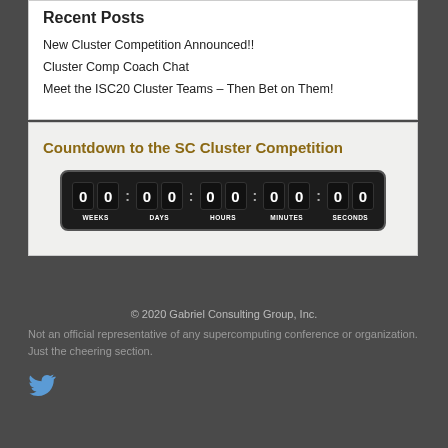Recent Posts
New Cluster Competition Announced!!
Cluster Comp Coach Chat
Meet the ISC20 Cluster Teams – Then Bet on Them!
Countdown to the SC Cluster Competition
[Figure (other): Countdown timer widget showing 00 WEEKS, 00 DAYS, 00 HOURS, 00 MINUTES, 00 SECONDS on a dark background with rounded corners]
© 2020 Gabriel Consulting Group, Inc.
Not an official representative of any supercomputing conference or organization. Just the cheering section.
[Figure (logo): Twitter bird icon in blue]